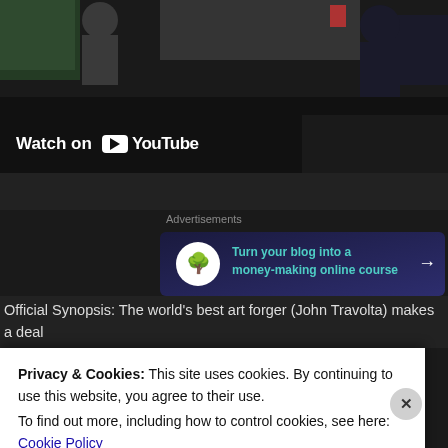[Figure (screenshot): Top portion of a YouTube embedded video showing a dark scene with people in the background]
Watch on YouTube
Advertisements
[Figure (infographic): Advertisement banner with bonsai tree icon reading 'Turn your blog into a money-making online course' with arrow]
Official Synopsis: The world's best art forger (John Travolta) makes a deal crime syndicate to get an early release from prison, but in return he must p impossible heist – he must forge a painting by Claude Monet, steal the orig
Privacy & Cookies: This site uses cookies. By continuing to use this website, you agree to their use.
To find out more, including how to control cookies, see here: Cookie Policy
Close and accept